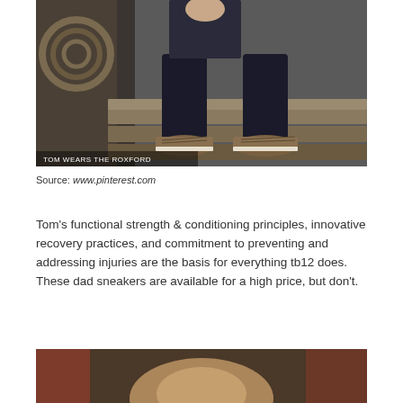[Figure (photo): Man sitting on wooden steps/bleachers outdoors wearing dark jeans and brown sneakers (Roxford), with rope/wood in background. Caption overlay: TOM WEARS THE ROXFORD]
Source: www.pinterest.com
Tom's functional strength & conditioning principles, innovative recovery practices, and commitment to preventing and addressing injuries are the basis for everything tb12 does. These dad sneakers are available for a high price, but don't.
[Figure (photo): Partially visible photo at bottom of page, blurred/cropped]